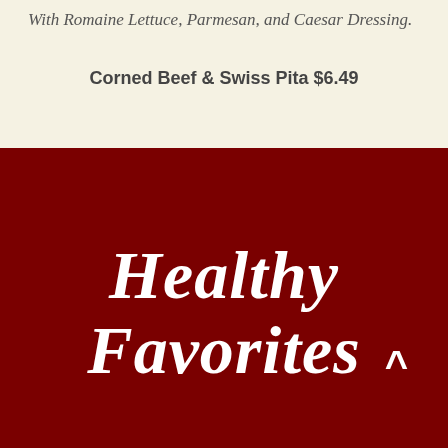With Romaine Lettuce, Parmesan, and Caesar Dressing.
Corned Beef & Swiss Pita $6.49
Healthy Favorites